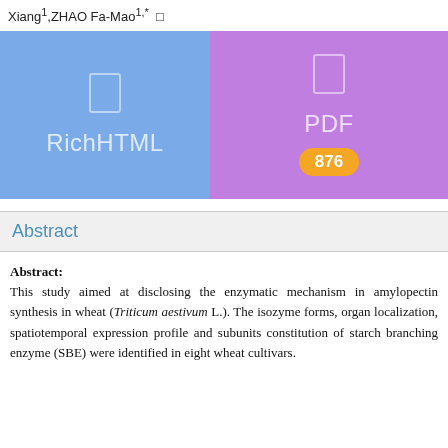Xiang¹,ZHAO Fa-Mao¹,* □
[Figure (other): Blue button/tile labeled RichHTML with a document icon]
[Figure (other): Purple button/tile labeled PDF with a document icon and orange badge showing 876]
Abstract
Abstract: This study aimed at disclosing the enzymatic mechanism in amylopectin synthesis in wheat (Triticum aestivum L.). The isozyme forms, organ localization, spatiotemporal expression profile and subunits constitution of starch branching enzyme (SBE) were identified in eight wheat cultivars.